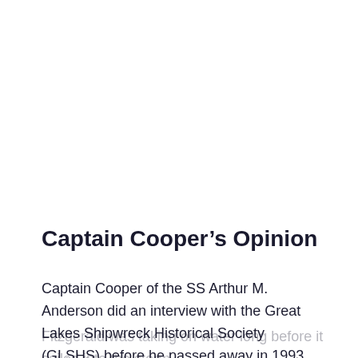Captain Cooper's Opinion
Captain Cooper of the SS Arthur M. Anderson did an interview with the Great Lakes Shipwreck Historical Society (GLSHS) before he passed away in 1993. His belief is that the SS Edmund Fitzgerald was taking on water long before it sailed into the storm.